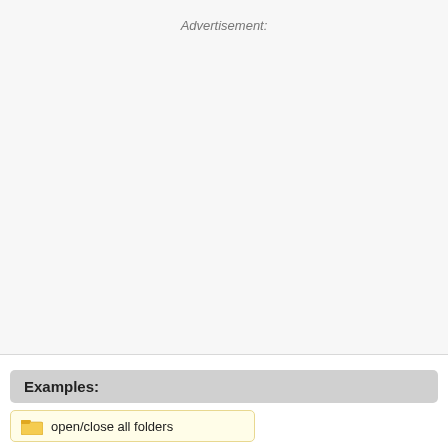Advertisement:
Examples:
open/close all folders